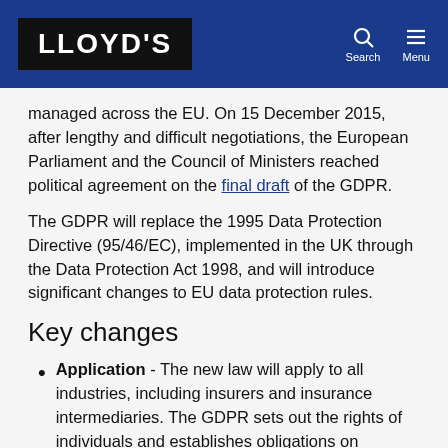LLOYD'S
managed across the EU. On 15 December 2015, after lengthy and difficult negotiations, the European Parliament and the Council of Ministers reached political agreement on the final draft of the GDPR.
The GDPR will replace the 1995 Data Protection Directive (95/46/EC), implemented in the UK through the Data Protection Act 1998, and will introduce significant changes to EU data protection rules.
Key changes
Application - The new law will apply to all industries, including insurers and insurance intermediaries. The GDPR sets out the rights of individuals and establishes obligations on businesses processing ordinary and sensitive